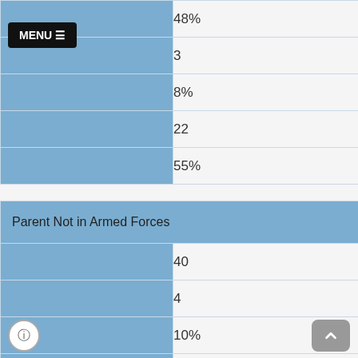|  | 48% |
|  | 3 |
|  | 8% |
|  | 22 |
|  | 55% |
Parent Not in Armed Forces
|  | 40 |
|  | 4 |
|  | 10% |
|  | 14 |
|  | 35% |
|  | 19 |